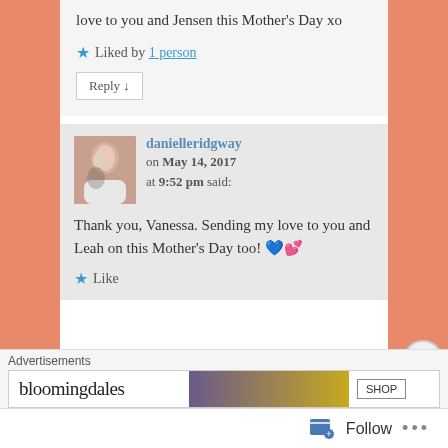love to you and Jensen this Mother's Day xo
Liked by 1 person
Reply ↓
danielleridgway on May 14, 2017 at 9:52 pm said:
Thank you, Vanessa. Sending my love to you and Leah on this Mother's Day too! 💙💕
Like
Advertisements
[Figure (logo): Bloomingdale's advertisement banner with shop button]
Follow